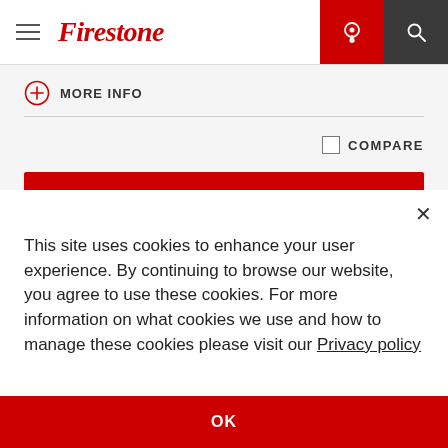[Figure (logo): Firestone logo with hamburger menu and navigation icons (pin and search) on dark backgrounds]
MORE INFO
COMPARE
This site uses cookies to enhance your user experience. By continuing to browse our website, you agree to use these cookies. For more information on what cookies we use and how to manage these cookies please visit our Privacy policy
OK